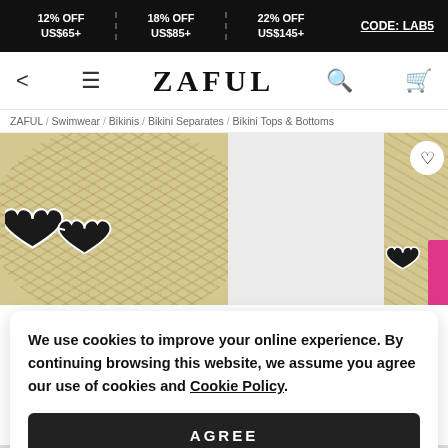12% OFF US$65+ | 18% OFF US$85+ | 22% OFF US$145+ CODE: LAB5
ZAFUL
ZAFUL / Swimwear / Bikinis / Bikini Separates / Bikini Tops & Bottoms
[Figure (screenshot): Product listing page showing straw hats with heart-shaped sunglasses on a beige background]
We use cookies to improve your online experience. By continuing browsing this website, we assume you agree our use of cookies and Cookie Policy.
AGREE